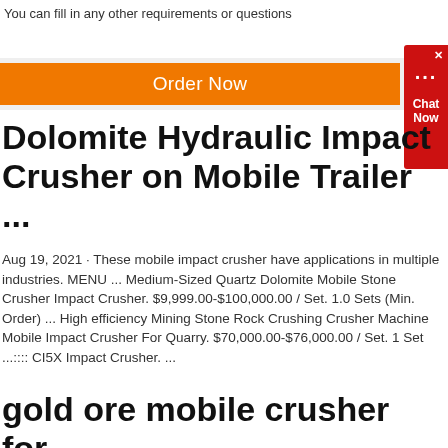You can fill in any other requirements or questions
[Figure (other): Orange 'Order Now' button with red 'Chat Now' widget on the right side]
Dolomite Hydraulic Impact Crusher on Mobile Trailer ...
Aug 19, 2021 · These mobile impact crusher have applications in multiple industries. MENU ... Medium-Sized Quartz Dolomite Mobile Stone Crusher Impact Crusher. $9,999.00-$100,000.00 / Set. 1.0 Sets (Min. Order) ... High efficiency Mining Stone Rock Crushing Crusher Machine Mobile Impact Crusher For Quarry. $70,000.00-$76,000.00 / Set. 1 Set ...:::: CI5X Impact Crusher. ...
gold ore mobile crusher for sale in india